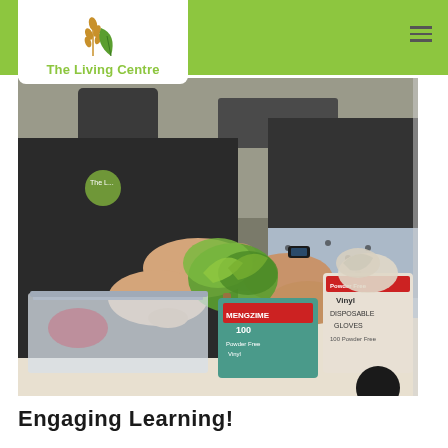[Figure (logo): The Living Centre logo with wheat/leaf icon in gold and green, white background box with green banner behind it]
[Figure (photo): Two people handling fresh green lettuce/leafy vegetables over a table with plastic bags and boxes of vinyl gloves (Mengzime brand, 100 count), one person wearing a black apron with The Living Centre logo]
Engaging Learning!